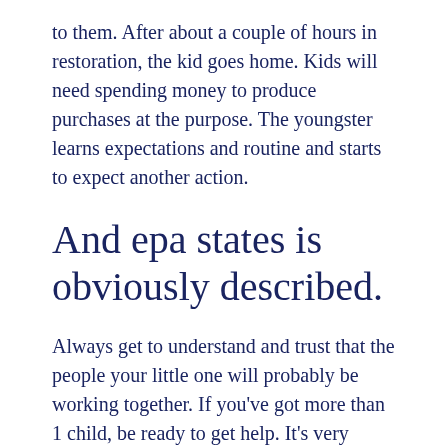to them. After about a couple of hours in restoration, the kid goes home. Kids will need spending money to produce purchases at the purpose. The youngster learns expectations and routine and starts to expect another action.
And epa states is obviously described.
Always get to understand and trust that the people your little one will probably be working together. If you've got more than 1 child, be ready to get help. It's very important that children are both there...